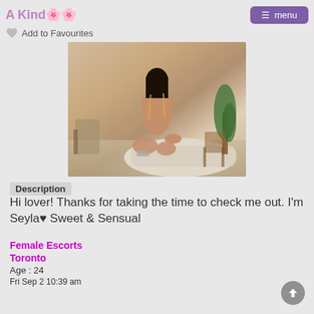A Kind🌸🌸
Add to Favourites
[Figure (photo): A young woman with dark hair in lingerie kneeling on a cream sofa in a stylish room with plants and wooden furniture]
Description
Hi lover! Thanks for taking the time to check me out. I'm Seyla❤ Sweet & Sensual
Female Escorts
Toronto
Age : 24
Fri Sep 2 10:39 am